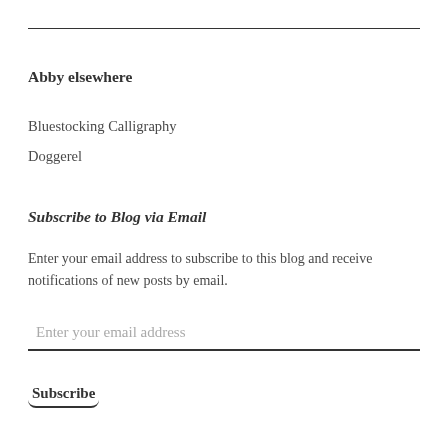Abby elsewhere
Bluestocking Calligraphy
Doggerel
Subscribe to Blog via Email
Enter your email address to subscribe to this blog and receive notifications of new posts by email.
Enter your email address
Subscribe